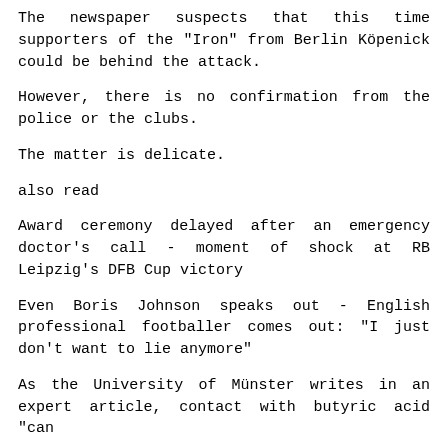The newspaper suspects that this time supporters of the "Iron" from Berlin Köpenick could be behind the attack.
However, there is no confirmation from the police or the clubs.
The matter is delicate.
also read
Award ceremony delayed after an emergency doctor's call - moment of shock at RB Leipzig's DFB Cup victory
Even Boris Johnson speaks out - English professional footballer comes out: "I just don't want to lie anymore"
As the University of Münster writes in an expert article, contact with butyric acid "can